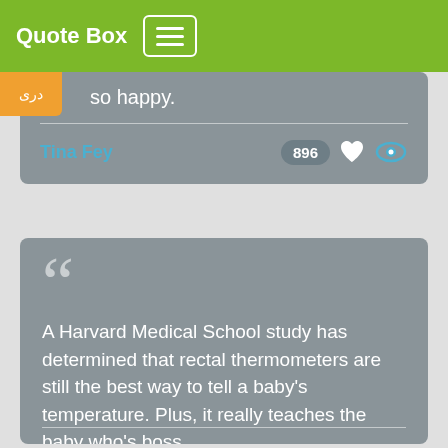Quote Box
so happy.
دری
Tina Fey
896
A Harvard Medical School study has determined that rectal thermometers are still the best way to tell a baby's temperature. Plus, it really teaches the baby who's boss.